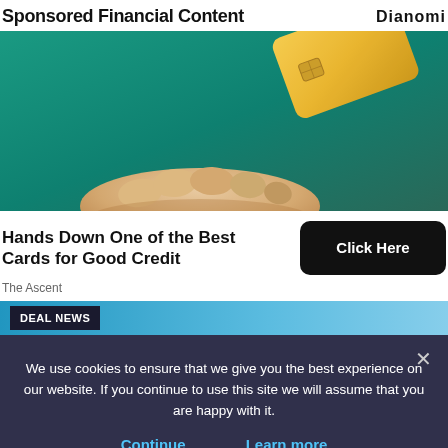Sponsored Financial Content — Dianomi
[Figure (photo): A gold credit card floating above an open hand, against a teal/green background.]
Hands Down One of the Best Cards for Good Credit
The Ascent
DEAL NEWS
We use cookies to ensure that we give you the best experience on our website. If you continue to use this site we will assume that you are happy with it.
Continue   Learn more